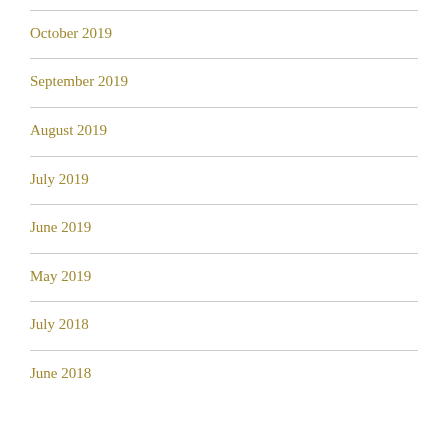October 2019
September 2019
August 2019
July 2019
June 2019
May 2019
July 2018
June 2018